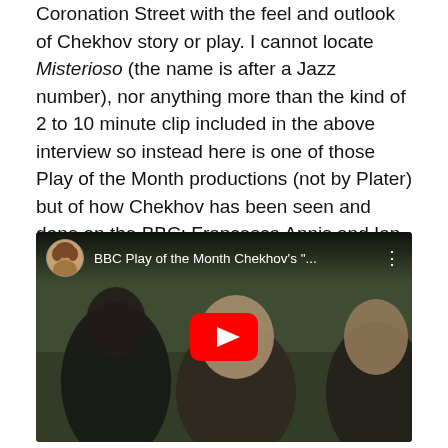Coronation Street with the feel and outlook of Chekhov story or play. I cannot locate Misterioso (the name is after a Jazz number), nor anything more than the kind of 2 to 10 minute clip included in the above interview so instead here is one of those Play of the Month productions (not by Plater) but of how Chekhov has been seen and done on the BBC: Francesca Annis and Ian Holm, 1974 in The Wood Demon (I believe it's the whole thing)
[Figure (screenshot): YouTube video embed showing BBC Play of the Month Chekhov's 'The Wood Demon' with a thumbnail of a woman and two actors in period costume. Red YouTube play button in center.]